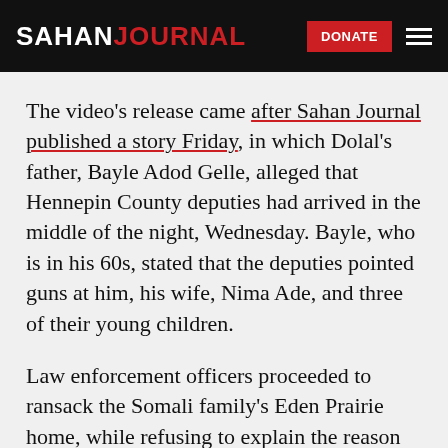SAHAN JOURNAL
The video's release came after Sahan Journal published a story Friday, in which Dolal's father, Bayle Adod Gelle, alleged that Hennepin County deputies had arrived in the middle of the night, Wednesday. Bayle, who is in his 60s, stated that the deputies pointed guns at him, his wife, Nima Ade, and three of their young children.
Law enforcement officers proceeded to ransack the Somali family's Eden Prairie home, while refusing to explain the reason for the search,